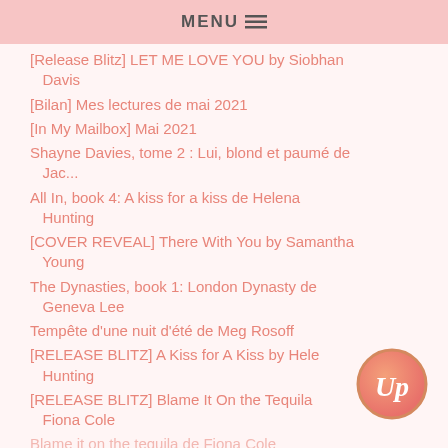MENU
[Release Blitz] LET ME LOVE YOU by Siobhan Davis
[Bilan] Mes lectures de mai 2021
[In My Mailbox] Mai 2021
Shayne Davies, tome 2 : Lui, blond et paumé de Jac...
All In, book 4: A kiss for a kiss de Helena Hunting
[COVER REVEAL] There With You by Samantha Young
The Dynasties, book 1: London Dynasty de Geneva Lee
Tempête d'une nuit d'été de Meg Rosoff
[RELEASE BLITZ] A Kiss for A Kiss by Helena Hunting
[RELEASE BLITZ] Blame It On the Tequila by Fiona Cole
Blame it on the tequila de Fiona Cole
[Figure (logo): Circular logo with stylized 'Up' text in white italic on a pink-orange gradient background with a gold border]